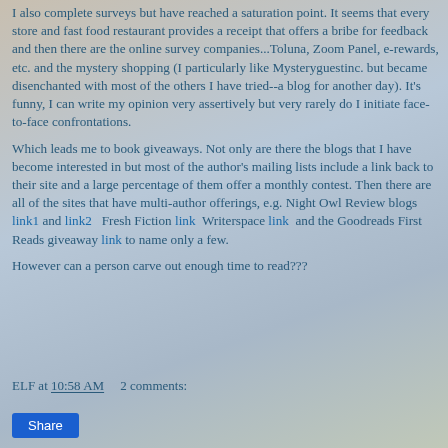I also complete surveys but have reached a saturation point.  It seems that every store and fast food restaurant provides a receipt that offers a bribe for feedback and then there are the online survey companies...Toluna, Zoom Panel, e-rewards, etc.  and the mystery shopping (I particularly like Mysteryguestinc. but became disenchanted with most of the others I have tried--a blog for another day).  It's funny, I can write my opinion very assertively but very rarely do I initiate face-to-face confrontations.
Which leads me to book giveaways.  Not only are there the blogs that I have become interested in but most of the author's mailing lists include a link back to their site and a large percentage of them offer a monthly contest.  Then there are all of the sites that have multi-author offerings, e.g. Night Owl Review blogs link1 and link2   Fresh Fiction link  Writerspace link  and the Goodreads First Reads giveaway link to name only a few.
However can a person carve out enough time to read???
ELF at 10:58 AM    2 comments: